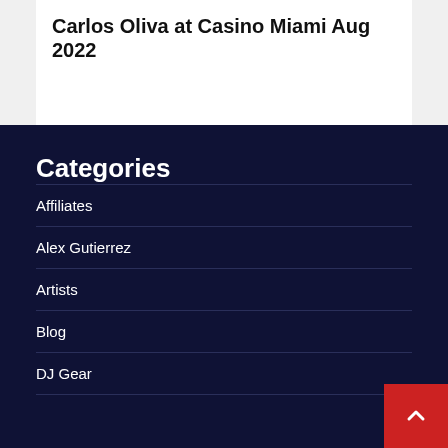Carlos Oliva at Casino Miami Aug 2022
Categories
Affiliates
Alex Gutierrez
Artists
Blog
DJ Gear